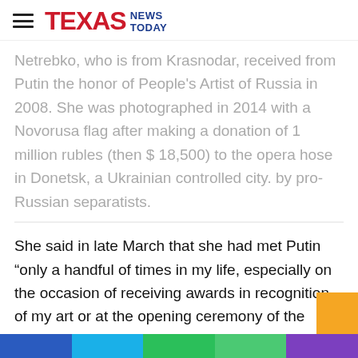Texas News Today
Netrebko, who is from Krasnodar, received from Putin the honor of People's Artist of Russia in 2008. She was photographed in 2014 with a Novorusa flag after making a donation of 1 million rubles (then $ 18,500) to the opera hose in Donetsk, a Ukrainian controlled city. by pro-Russian separatists.
She said in late March that she had met Putin “only a handful of times in my life, especially on the occasion of receiving awards in recognition of my art or at the opening ceremony of the Olympics.”
“I am not a member of any political party and I am not allied